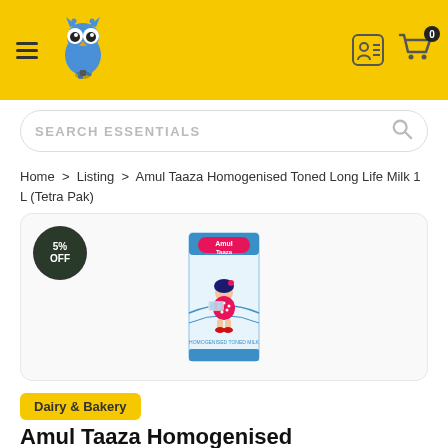[Figure (screenshot): Yellow header bar with hamburger menu, owl logo, user icon, and cart with 0 badge]
SEARCH ESSENTIALS
Home > Listing > Amul Taaza Homogenised Toned Long Life Milk 1 L (Tetra Pak)
[Figure (photo): Amul Taaza Homogenised Toned Long Life Milk 1L Tetra Pak product image with 5% OFF badge]
Dairy & Bakery
Amul Taaza Homogenised